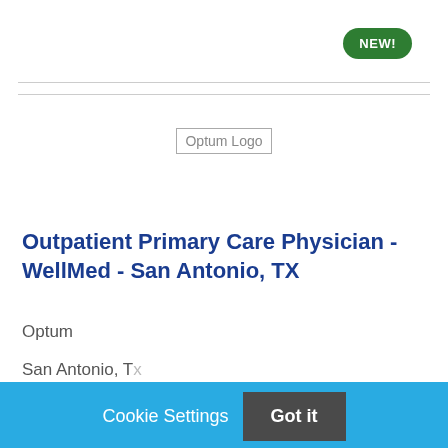[Figure (logo): Optum Logo placeholder image]
Outpatient Primary Care Physician - WellMed - San Antonio, TX
Optum
San Antonio, TX (partial, cut off)
Cookie Settings  Got it
We use cookies so that we can remember you and understand how you use our site. If you do not agree with our use of cookies, please change the current settings found in our Cookie Policy. Otherwise, you agree to the use of the cookies as they are currently set.